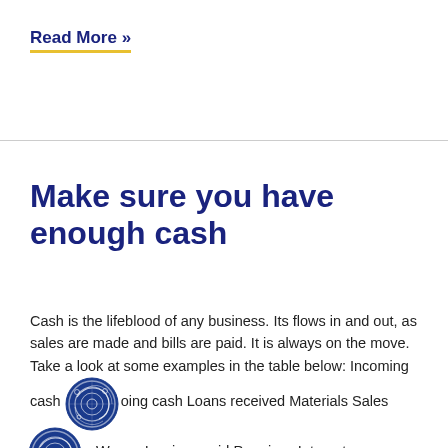Read More »
Make sure you have enough cash
Cash is the lifeblood of any business. Its flows in and out, as sales are made and bills are paid. It is always on the move. Take a look at some examples in the table below: Incoming cash [icon] oing cash Loans received Materials Sales [icon] e Wages Invoices paid Premises Interest received Insurance  Tax  …